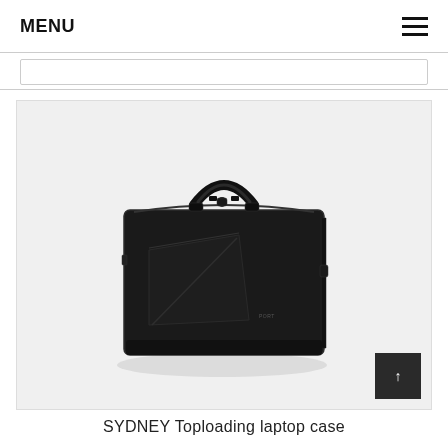MENU
[Figure (photo): Black SYDNEY Toploading laptop case / briefcase bag with handle and diagonal front pocket, photographed on light grey background]
SYDNEY Toploading laptop case